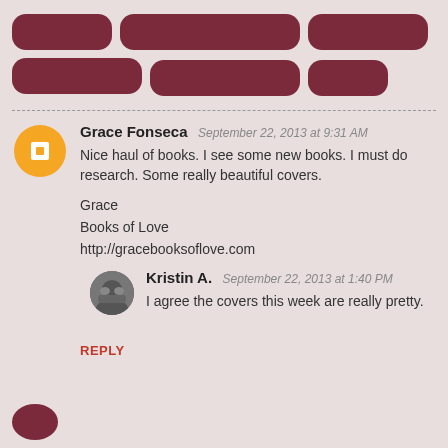[Figure (other): Redacted navigation/menu bars shown as dark red rounded pill shapes]
Grace Fonseca  September 22, 2013 at 9:31 AM

Nice haul of books. I see some new books. I must do research. Some really beautiful covers.

Grace
Books of Love
http://gracebooksoflove.com
Kristin A.  September 22, 2013 at 1:40 PM

I agree the covers this week are really pretty.
REPLY